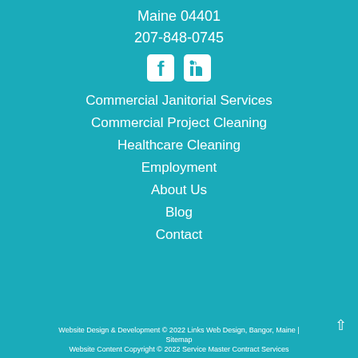Maine 04401
207-848-0745
[Figure (illustration): Facebook and LinkedIn social media icons in white]
Commercial Janitorial Services
Commercial Project Cleaning
Healthcare Cleaning
Employment
About Us
Blog
Contact
Website Design & Development © 2022 Links Web Design, Bangor, Maine | Sitemap
Website Content Copyright © 2022 Service Master Contract Services